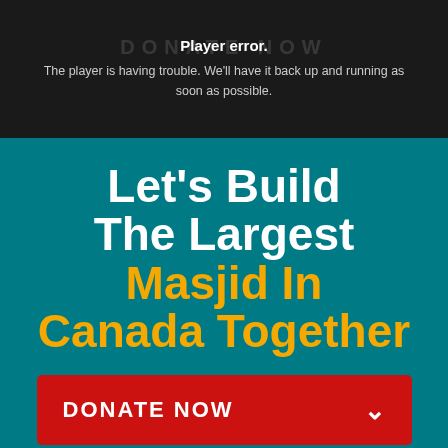Player error.
The player is having trouble. We'll have it back up and running as soon as possible.
Let's Build The Largest Masjid In Canada Together
DONATE NOW